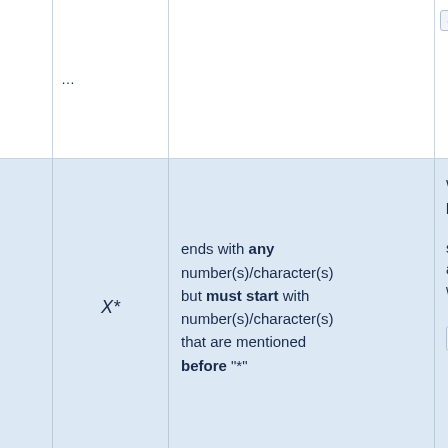|  | Symbol | Description | Notes |
| --- | --- | --- | --- |
|  |  | ...ends with any number(s)/character(s) but must start with number(s)/character(s) that are mentioned before "*" | ... |
|  | X* | ends with any number(s)/character(s) but must start with number(s)/character(s) that are mentioned before "*" | When pattern 123* shipping applies with 123... |
|  | ?X | starts with one number/character but must end with number(s)/character(s) that are mentioned... | When pattern 123 rule to 0... |